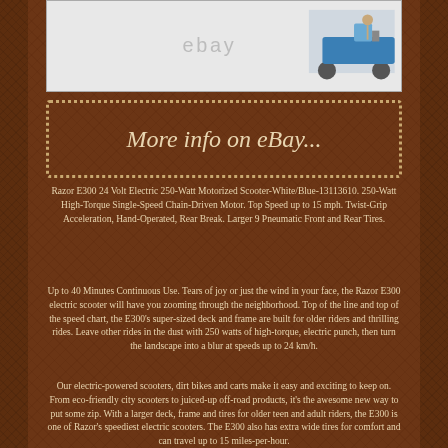[Figure (photo): eBay product listing image placeholder showing partial view of a Razor E300 electric scooter with eBay watermark]
[Figure (other): Dotted border banner reading 'More info on eBay...' in italic text]
Razor E300 24 Volt Electric 250-Watt Motorized Scooter-White/Blue-13113610. 250-Watt High-Torque Single-Speed Chain-Driven Motor. Top Speed up to 15 mph. Twist-Grip Acceleration, Hand-Operated, Rear Break. Larger 9 Pneumatic Front and Rear Tires.
Up to 40 Minutes Continuous Use. Tears of joy or just the wind in your face, the Razor E300 electric scooter will have you zooming through the neighborhood. Top of the line and top of the speed chart, the E300's super-sized deck and frame are built for older riders and thrilling rides. Leave other rides in the dust with 250 watts of high-torque, electric punch, then turn the landscape into a blur at speeds up to 24 km/h.
Our electric-powered scooters, dirt bikes and carts make it easy and exciting to keep on. From eco-friendly city scooters to juiced-up off-road products, it's the awesome new way to put some zip. With a larger deck, frame and tires for older teen and adult riders, the E300 is one of Razor's speediest electric scooters. The E300 also has extra wide tires for comfort and can travel up to 15 miles-per-hour.